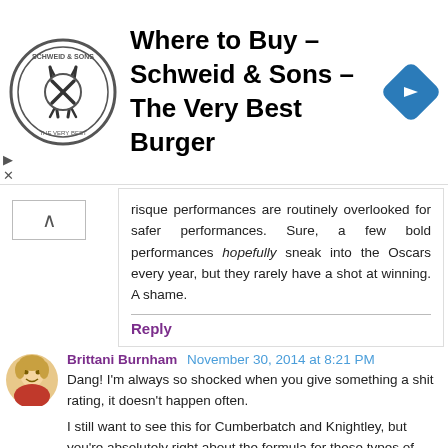[Figure (logo): Schweid & Sons logo - circular badge with crossed utensils]
Where to Buy – Schweid & Sons – The Very Best Burger
[Figure (other): Blue diamond navigation arrow icon]
risque performances are routinely overlooked for safer performances. Sure, a few bold performances hopefully sneak into the Oscars every year, but they rarely have a shot at winning. A shame.
Reply
Brittani Burnham November 30, 2014 at 8:21 PM
Dang! I'm always so shocked when you give something a shit rating, it doesn't happen often.
I still want to see this for Cumberbatch and Knightley, but you're absolutely right about the formula for these types of movies.